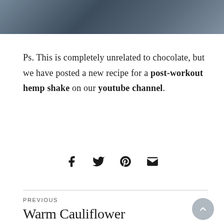[Figure (photo): Partial photo strip at top of page showing a dark outdoor/nature scene with muted tones of blue and gray]
Ps. This is completely unrelated to chocolate, but we have posted a new recipe for a post-workout hemp shake on our youtube channel.
[Figure (infographic): Social share icons: Facebook (f), Twitter (bird), Pinterest (P), Email (envelope)]
PREVIOUS
Warm Cauliflower